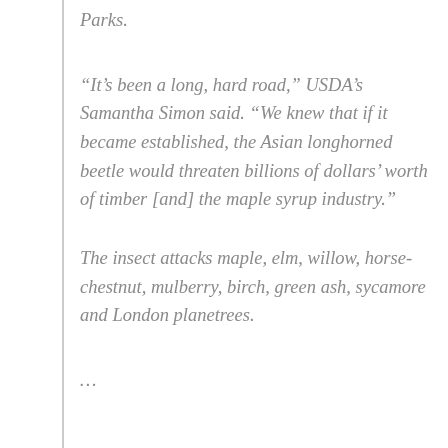Parks.
“It’s been a long, hard road,” USDA’s Samantha Simon said. “We knew that if it became established, the Asian longhorned beetle would threaten billions of dollars’ worth of timber [and] the maple syrup industry.”
The insect attacks maple, elm, willow, horse-chestnut, mulberry, birch, green ash, sycamore and London planetrees.
…